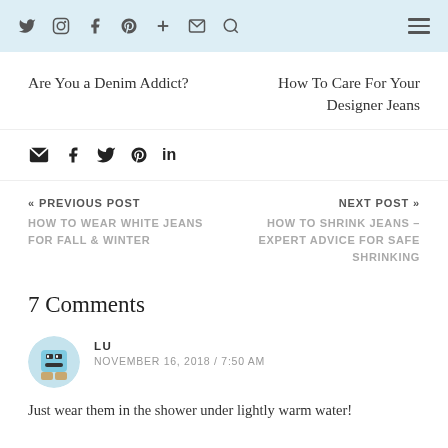Social icons navigation bar with Twitter, Instagram, Facebook, Pinterest, Plus, Email, Search and hamburger menu
Are You a Denim Addict?
How To Care For Your Designer Jeans
Share icons: email, facebook, twitter, pinterest, linkedin
« PREVIOUS POST
HOW TO WEAR WHITE JEANS FOR FALL & WINTER
NEXT POST »
HOW TO SHRINK JEANS – EXPERT ADVICE FOR SAFE SHRINKING
7 Comments
LU
NOVEMBER 16, 2018 / 7:50 AM
Just wear them in the shower under lightly warm water!